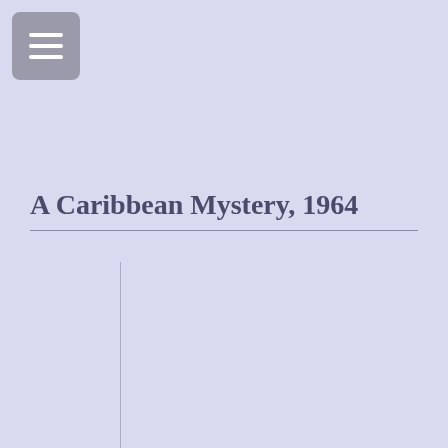[Figure (other): Menu hamburger button: a rounded rectangle with three horizontal white lines on a grey background]
A Caribbean Mystery, 1964